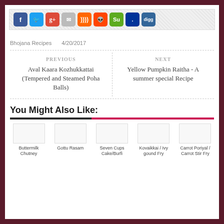[Figure (other): Social sharing icons bar: Facebook, Twitter, Google+, Email, RSS, Reddit, StumbleUpon, Delicious, Digg]
Bhojana Recipes    4/20/2017
PREVIOUS
Aval Kaara Kozhukkattai (Tempered and Steamed Poha Balls)
NEXT
Yellow Pumpkin Raitha - A summer special Recipe
You Might Also Like:
[Figure (other): Five thumbnail images for related recipes]
Buttermilk Chutney
Gottu Rasam
Seven Cups Cake/Burfi
Kovaikkai / Ivy gound Fry
Carrot Poriyal / Carrot Stir Fry